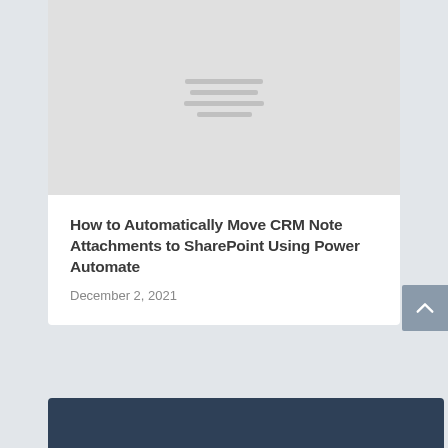[Figure (other): Gray placeholder image area with four horizontal lines suggesting loading/placeholder content]
How to Automatically Move CRM Note Attachments to SharePoint Using Power Automate
December 2, 2021